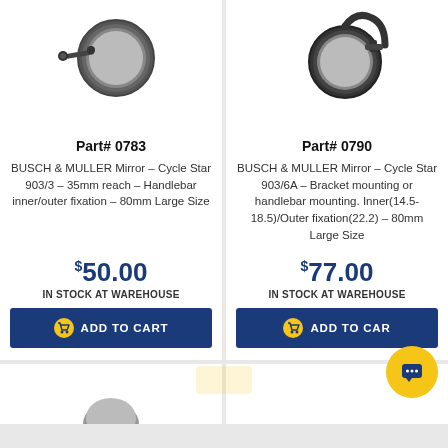[Figure (photo): Busch & Muller Cycle Star mirror Part# 0783 product image - black round mirror with stem]
[Figure (photo): Busch & Muller Cycle Star mirror Part# 0790 product image - dark round mirror with bracket]
Part# 0783
Part# 0790
BUSCH & MULLER Mirror – Cycle Star 903/3 – 35mm reach – Handlebar inner/outer fixation – 80mm Large Size
BUSCH & MULLER Mirror – Cycle Star 903/6A – Bracket mounting or handlebar mounting. Inner(14.5-18.5)/Outer fixation(22.2) – 80mm Large Size
$50.00
$77.00
IN STOCK AT WAREHOUSE
IN STOCK AT WAREHOUSE
ADD TO CART
ADD TO CART